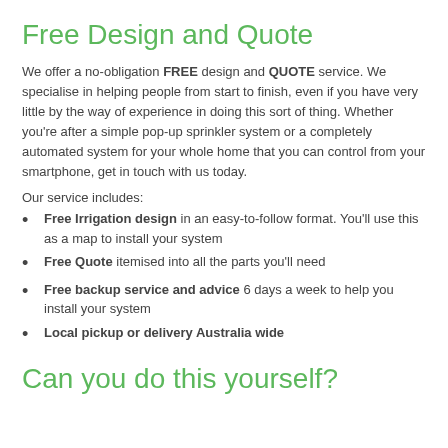Free Design and Quote
We offer a no-obligation FREE design and QUOTE service. We specialise in helping people from start to finish, even if you have very little by the way of experience in doing this sort of thing. Whether you're after a simple pop-up sprinkler system or a completely automated system for your whole home that you can control from your smartphone, get in touch with us today.
Our service includes:
Free Irrigation design in an easy-to-follow format. You'll use this as a map to install your system
Free Quote itemised into all the parts you'll need
Free backup service and advice 6 days a week to help you install your system
Local pickup or delivery Australia wide
Can you do this yourself?